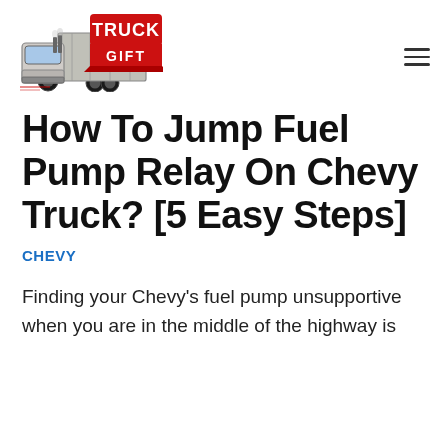[Figure (logo): Truck Gift logo with a detailed illustration of a semi-truck and the text TRUCK GIFT in bold with a red banner]
How To Jump Fuel Pump Relay On Chevy Truck? [5 Easy Steps]
CHEVY
Finding your Chevy's fuel pump unsupportive when you are in the middle of the highway is